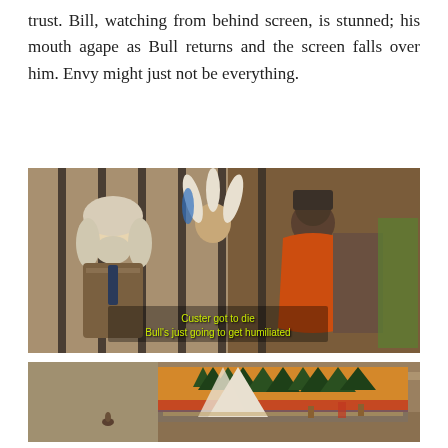trust. Bill, watching from behind screen, is stunned; his mouth agape as Bull returns and the screen falls over him. Envy might just not be everything.
[Figure (screenshot): Film still showing a man with long white hair and beard wearing a tie and decorated jacket, standing behind bars, smiling at a Native American figure in traditional dress with headdress. An orange-blanketed figure stands in foreground. Subtitles read: 'Custer got to die / Bull's just going to get humiliated']
[Figure (screenshot): Wide outdoor scene showing a large painted backdrop depicting trees and landscape in orange and green hues, set up in what appears to an arena or open ground with various figures and props in front.]